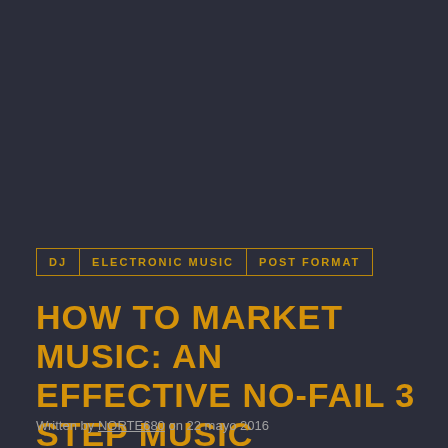DJ
ELECTRONIC MUSIC
POST FORMAT
HOW TO MARKET MUSIC: AN EFFECTIVE NO-FAIL 3 STEP MUSIC MARKETING FORMULA THAT WORKS
Written by NORTE680 on 22 mayo 2016